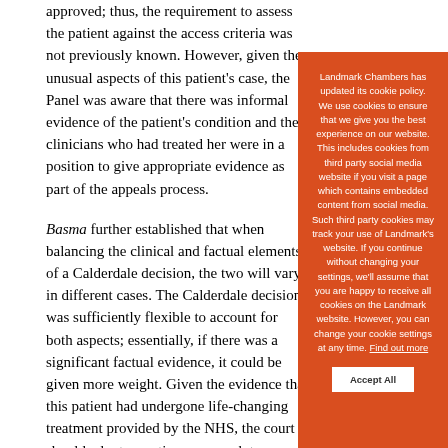approved; thus, the requirement to assess the patient against the access criteria was not previously known. However, given the unusual aspects of this patient's case, the Panel was aware that there was informal evidence of the patient's condition and the clinicians who had treated her were in a position to give appropriate evidence as part of the appeals process.
Basma further established that when balancing the clinical and factual elements of a Calderdale decision, the two will vary in different cases. The Calderdale decision was sufficiently flexible to account for both aspects; essentially, if there was a significant factual evidence, it could be given more weight. Given the evidence that this patient had undergone life-changing treatment provided by the NHS, the court should adopt a cautious approach to judicial review, according less weight to the clinical judgment of clinicians in this case due to the substantial factual element as well as the considerable
[Figure (other): Cookie consent modal overlay with orange background. Contains Landmark Chambers cookie policy notice text in white, and an 'Accept All' button in white.]